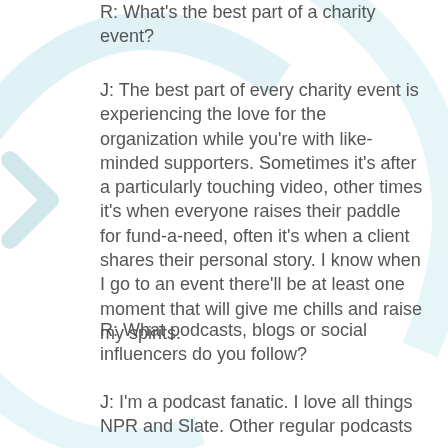R: What's the best part of a charity event?
J: The best part of every charity event is experiencing the love for the organization while you're with like-minded supporters. Sometimes it's after a particularly touching video, other times it's when everyone raises their paddle for fund-a-need, often it's when a client shares their personal story. I know when I go to an event there'll be at least one moment that will give me chills and raise my spirits.
R: What podcasts, blogs or social influencers do you follow?
J: I'm a podcast fanatic. I love all things NPR and Slate. Other regular podcasts